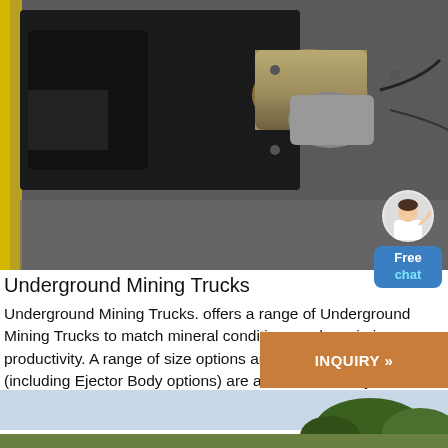[Figure (photo): Close-up photograph of underground mining truck engine/starter motor components — black metal machinery with cylindrical silver/gold motor parts visible, on a grey floor with yellow stripe at left edge]
Underground Mining Trucks
Underground Mining Trucks. offers a range of Underground Mining Trucks to match mineral conditions and maximize productivity. A range of size options and configurations (including Ejector Body options) are available to suit your specific ....
[Figure (photo): Partial bottom photo showing outdoor scene with trees and sky, light blue sky visible at top of strip]